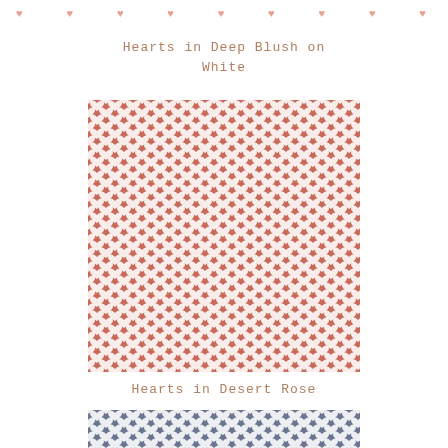[Figure (illustration): Row of small pink heart icons used as decorative header border]
Hearts in Deep Blush on White
[Figure (illustration): Fabric swatch showing dense repeating white heart pattern on deep blush/desert rose background]
Hearts in Desert Rose
[Figure (illustration): Partial fabric swatch showing dense repeating white heart pattern on slate/blue-grey background]